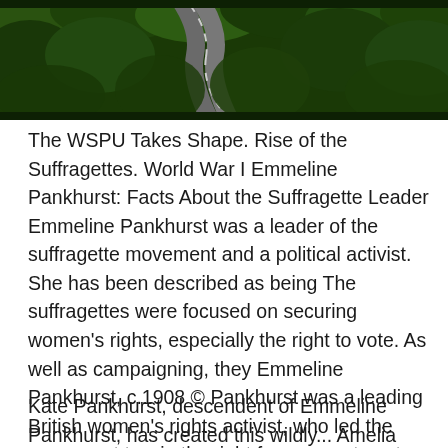[Figure (photo): Aerial view of a road winding through dense green forest/trees, photographed from above.]
The WSPU Takes Shape. Rise of the Suffragettes. World War I Emmeline Pankhurst: Facts About the Suffragette Leader Emmeline Pankhurst was a leader of the suffragette movement and a political activist. She has been described as being The suffragettes were focused on securing women's rights, especially the right to vote. As well as campaigning, they Emmeline Pankhurst, c.1908 © Pankhurst was a leading British women's rights activist, who led the movement to win the right for women to vote.
Kate Pankhurst, descendent of Emmeline Pankhurst, has created this wildly... Amelia Fawkett Gavett#å° ereis information bing